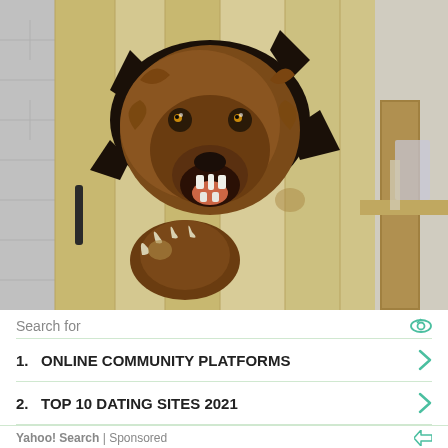[Figure (photo): A detailed wood carving of a roaring grizzly bear bursting through wooden planks, displayed in what appears to be a workshop or studio setting. The carving is highly detailed with the bear's head, open mouth, and front paw with claws visible. The surrounding area shows a concrete block wall and a wooden post on the right.]
Search for
1.  ONLINE COMMUNITY PLATFORMS
2.  TOP 10 DATING SITES 2021
Yahoo! Search | Sponsored